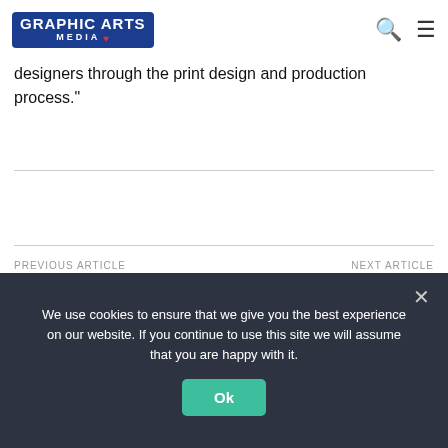Graphic Arts Media
designers through the print design and production process."
PREVIOUS ARTICLE
Canadian Print Scholarships launches Job Board
NEXT ARTICLE
Lee is new Konica Minolta SVP and CIO
We use cookies to ensure that we give you the best experience on our website. If you continue to use this site we will assume that you are happy with it.